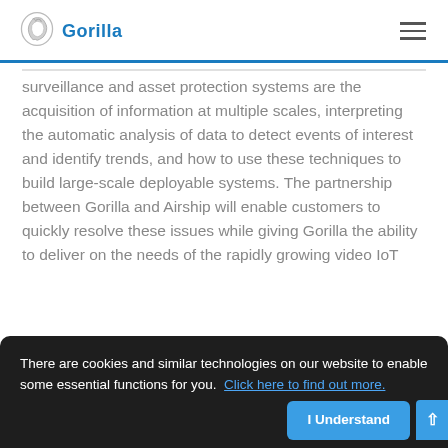Gorilla
surveillance and asset protection systems are the acquisition of information at multiple scales, interpreting the automatic analysis of data to detect events of interest and identify trends, and how to use these techniques to build large-scale deployable systems. The partnership between Gorilla and Airship will enable customers to quickly resolve these issues while giving Gorilla the ability to deliver on the needs of the rapidly growing video IoT
There are cookies and similar technologies on our website to enable some essential functions for you. Click here to find out more.